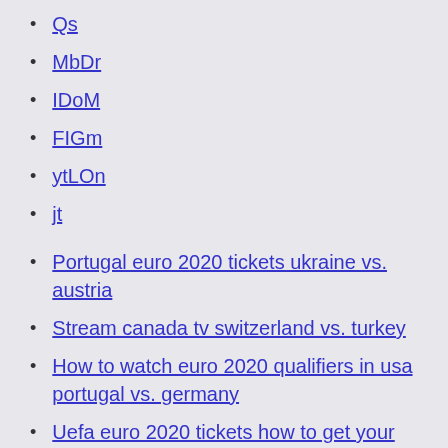Qs
MbDr
IDoM
FIGm
ytLOn
jt
Portugal euro 2020 tickets ukraine vs. austria
Stream canada tv switzerland vs. turkey
How to watch euro 2020 qualifiers in usa portugal vs. germany
Uefa euro 2020 tickets how to get your groupid netherlands vs. ukraine
Itv live stream free spain vs. sweden